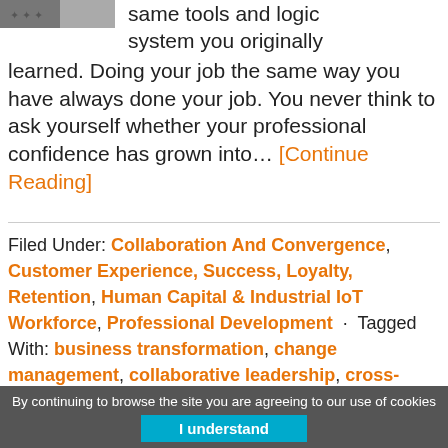[Figure (photo): Partial image of a person in the top-left corner]
same tools and logic system you originally learned. Doing your job the same way you have always done your job. You never think to ask yourself whether your professional confidence has grown into… [Continue Reading]
Filed Under: Collaboration And Convergence, Customer Experience, Success, Loyalty, Retention, Human Capital & Industrial IoT Workforce, Professional Development · Tagged With: business transformation, change management, collaborative leadership, cross-functional leadership, customer experience, customer retention, customer success, employee experience, employee retention, employee success, engineering professionals, human
By continuing to browse the site you are agreeing to our use of cookies
I understand